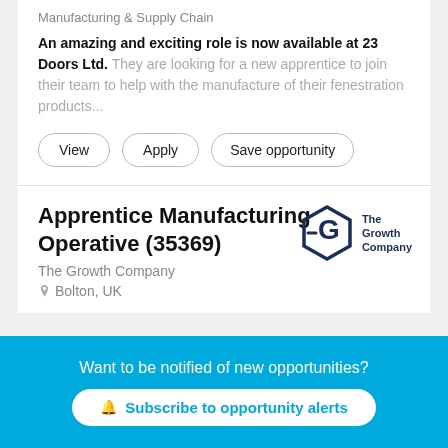Manufacturing & Supply Chain
An amazing and exciting role is now available at 23 Doors Ltd. They are looking for a new apprentice to join their team to help with the manufacture of their fenestration products...
View
Apply
Save opportunity
Apprentice Manufacturing Operative (35369)
[Figure (logo): The Growth Company hexagon logo with text 'The Growth Company']
The Growth Company
Bolton, UK
Want to be notified of new opportunities?
Subscribe to opportunity alerts